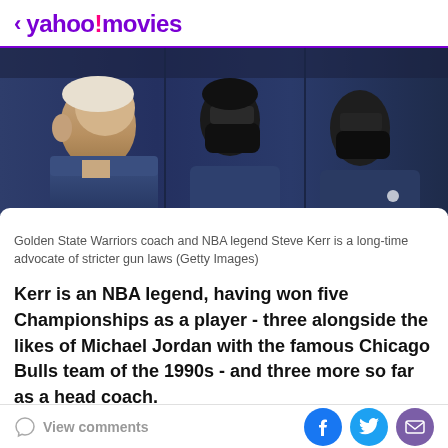< yahoo!movies
[Figure (photo): Photo of Golden State Warriors coach Steve Kerr and others in navy blue jackets, side profile view, some wearing black masks.]
Golden State Warriors coach and NBA legend Steve Kerr is a long-time advocate of stricter gun laws (Getty Images)
Kerr is an NBA legend, having won five Championships as a player - three alongside the likes of Michael Jordan with the famous Chicago Bulls team of the 1990s - and three more so far as a head coach.
View comments